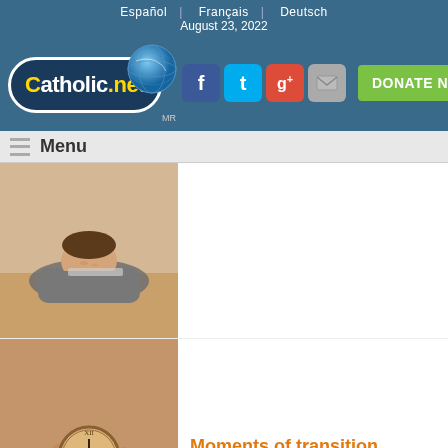Español | Français | Deutsch
August 23, 2022
[Figure (logo): Catholic.net logo with globe]
[Figure (infographic): Social media icons: Facebook, Twitter, Google+, Mail, and DONATE NOW button]
Menu
[Figure (photo): Person resting head on desk with laptop]
[Figure (photo): Hand holding a pocket watch - sepia tone]
Moments of transition
[Figure (photo): Man covering face with hand - black and white]
What was done wrong